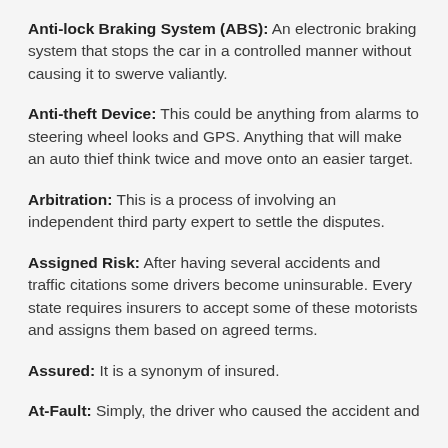Anti-lock Braking System (ABS): An electronic braking system that stops the car in a controlled manner without causing it to swerve valiantly.
Anti-theft Device: This could be anything from alarms to steering wheel looks and GPS. Anything that will make an auto thief think twice and move onto an easier target.
Arbitration: This is a process of involving an independent third party expert to settle the disputes.
Assigned Risk: After having several accidents and traffic citations some drivers become uninsurable. Every state requires insurers to accept some of these motorists and assigns them based on agreed terms.
Assured: It is a synonym of insured.
At-Fault: Simply, the driver who caused the accident and